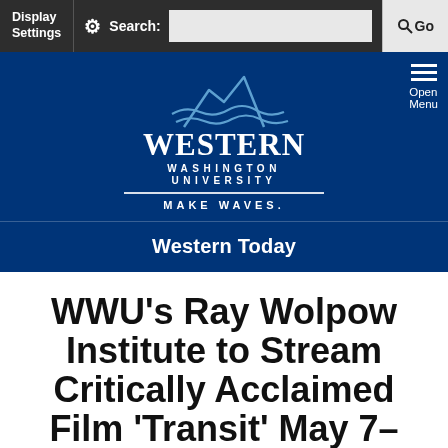Display Settings  ⚙ Search:   🔍 Go
[Figure (logo): Western Washington University logo with mountain and wave graphic, text: WESTERN WASHINGTON UNIVERSITY, MAKE WAVES.]
Western Today
WWU's Ray Wolpow Institute to Stream Critically Acclaimed Film 'Transit' May 7–